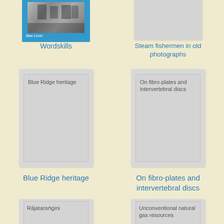[Figure (illustration): Book cover for Wordskills - blue cover with photo and 'Blue Level' label, partially cropped at top]
Wordskills
[Figure (illustration): Book cover for Steam fishermen in old photographs - grey placeholder cover, partially cropped at top]
Steam fishermen in old photographs
[Figure (illustration): Book cover for Blue Ridge heritage - grey cover with inner border and title text]
Blue Ridge heritage
[Figure (illustration): Book cover for On fibro-plates and intervertebral discs - grey cover with inner border and title text]
On fibro-plates and intervertebral discs
[Figure (illustration): Book cover for Rājataraṅgini - grey placeholder cover, partially cropped at bottom]
[Figure (illustration): Book cover for Unconventional natural gas resources - grey placeholder cover, partially cropped at bottom]